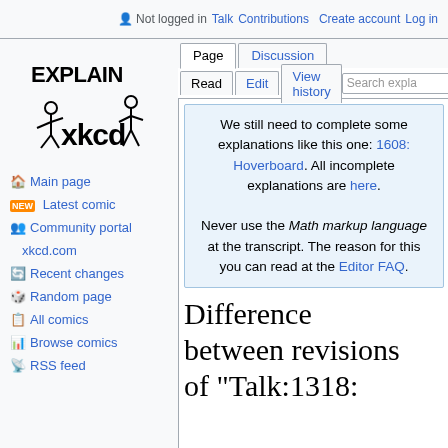Not logged in  Talk  Contributions  Create account  Log in
[Figure (logo): Explain xkcd logo with stick figures]
Main page
Latest comic
Community portal
xkcd.com
Recent changes
Random page
All comics
Browse comics
RSS feed
Page  Discussion
Read  Edit  View history
We still need to complete some explanations like this one: 1608: Hoverboard. All incomplete explanations are here.

Never use the Math markup language at the transcript. The reason for this you can read at the Editor FAQ.
Difference between revisions of "Talk:1318: